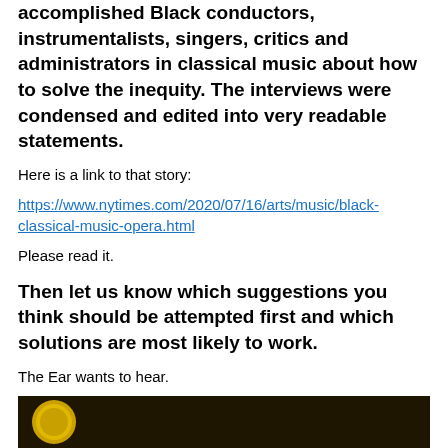accomplished Black conductors, instrumentalists, singers, critics and administrators in classical music about how to solve the inequity. The interviews were condensed and edited into very readable statements.
Here is a link to that story:
https://www.nytimes.com/2020/07/16/arts/music/black-classical-music-opera.html
Please read it.
Then let us know which suggestions you think should be attempted first and which solutions are most likely to work.
The Ear wants to hear.
[Figure (photo): Bottom image strip showing a dark background with what appears to be a golden coin or medallion symbol on the left side.]